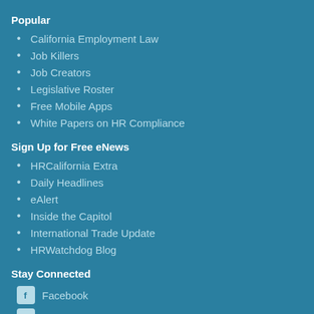Popular
California Employment Law
Job Killers
Job Creators
Legislative Roster
Free Mobile Apps
White Papers on HR Compliance
Sign Up for Free eNews
HRCalifornia Extra
Daily Headlines
eAlert
Inside the Capitol
International Trade Update
HRWatchdog Blog
Stay Connected
Facebook
Twitter
LinkedIn
RSS